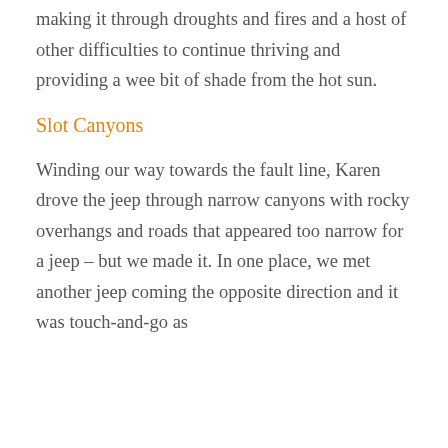making it through droughts and fires and a host of other difficulties to continue thriving and providing a wee bit of shade from the hot sun.
Slot Canyons
Winding our way towards the fault line, Karen drove the jeep through narrow canyons with rocky overhangs and roads that appeared too narrow for a jeep – but we made it. In one place, we met another jeep coming the opposite direction and it was touch-and-go as